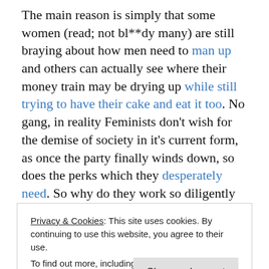The main reason is simply that some women (read; not bl**dy many) are still braying about how men need to man up and others can actually see where their money train may be drying up while still trying to have their cake and eat it too. No gang, in reality Feminists don't wish for the demise of society in it's current form, as once the party finally winds down, so does the perks which they desperately need. So why do they work so diligently in sniping their noses to spite their faces?

Here's my theory on the matter, which can be somewhat
Privacy & Cookies: This site uses cookies. By continuing to use this website, you agree to their use.
To find out more, including how to control cookies, see here: Cookie Policy
1701D. Sadly he had undergone a mishap and got